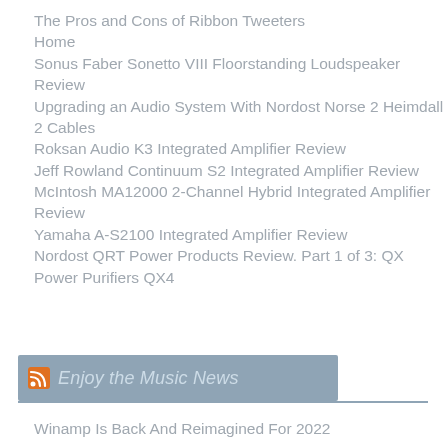The Pros and Cons of Ribbon Tweeters
Home
Sonus Faber Sonetto VIII Floorstanding Loudspeaker Review
Upgrading an Audio System With Nordost Norse 2 Heimdall 2 Cables
Roksan Audio K3 Integrated Amplifier Review
Jeff Rowland Continuum S2 Integrated Amplifier Review
McIntosh MA12000 2-Channel Hybrid Integrated Amplifier Review
Yamaha A-S2100 Integrated Amplifier Review
Nordost QRT Power Products Review. Part 1 of 3: QX Power Purifiers QX4
Enjoy the Music News
Winamp Is Back And Reimagined For 2022